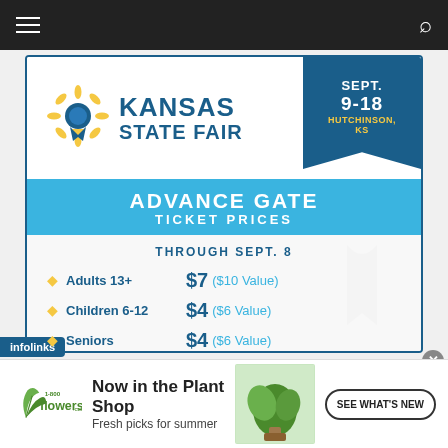Navigation bar with hamburger menu and search icon
[Figure (infographic): Kansas State Fair Advance Gate Ticket Prices advertisement. Sept. 9-18, Hutchinson, KS. Adults 13+: $7 ($10 Value), Children 6-12: $4 ($6 Value), Seniors: $4 ($6 Value). Through Sept. 8. Tickets available online, at any Kansas Dillons store, or at the KSF Ticket Office. KansasStateFair.com]
Tickets are available online, at any Kansas Dillons store, or at the KSF Ticket Office.
infolinks
Now in the Plant Shop Fresh picks for summer
SEE WHAT'S NEW